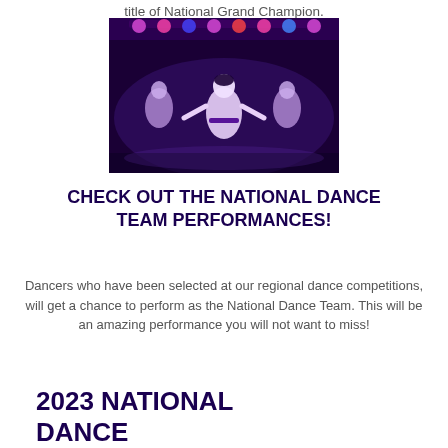title of National Grand Champion.
[Figure (photo): Dancers on stage in white and purple costumes performing under colorful stage lights]
CHECK OUT THE NATIONAL DANCE TEAM PERFORMANCES!
Dancers who have been selected at our regional dance competitions, will get a chance to perform as the National Dance Team. This will be an amazing performance you will not want to miss!
2023 NATIONAL DANCE